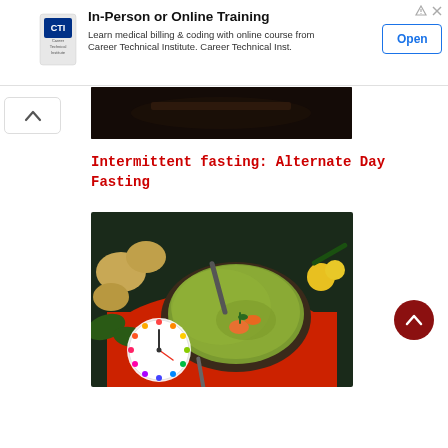[Figure (screenshot): Advertisement banner for Career Technical Institute offering In-Person or Online Training for medical billing and coding. Includes logo, description text, and Open button.]
[Figure (photo): Partial view of a dark food photograph at the top of the content area.]
Intermittent fasting: Alternate Day Fasting
[Figure (photo): Bowl of green vegetable soup with carrots and herbs on a red plate, surrounded by potatoes, spinach, and yellow flowers, with a colorful fasting clock overlay in the bottom left corner.]